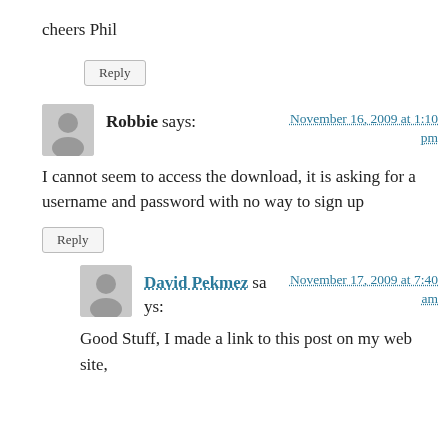cheers Phil
Reply
Robbie says:
November 16, 2009 at 1:10 pm
I cannot seem to access the download, it is asking for a username and password with no way to sign up
Reply
David Pekmez says:
November 17, 2009 at 7:40 am
Good Stuff, I made a link to this post on my web site,